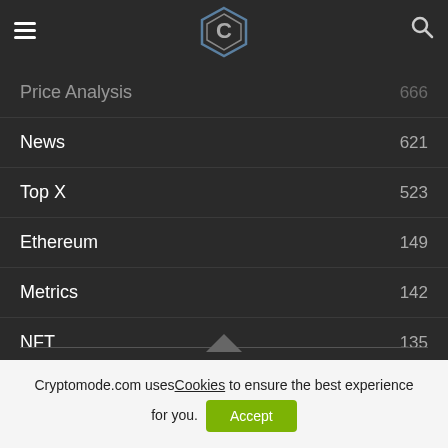Cryptomode logo navigation header
Price Analysis 666
News 621
Top X 523
Ethereum 149
Metrics 142
NFT 135
Finance 114
Cryptomode.com uses Cookies to ensure the best experience for you.